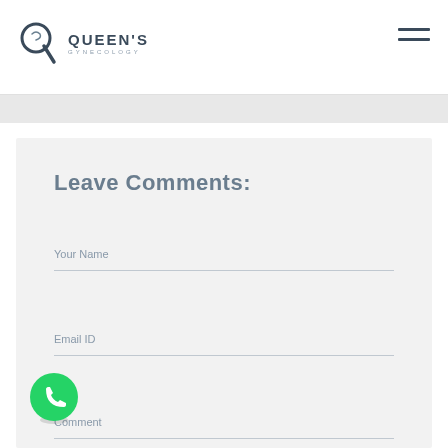Queen's Gynecology
Leave Comments:
Your Name
Email ID
Comment
[Figure (logo): WhatsApp contact button - green circle with phone handset icon]